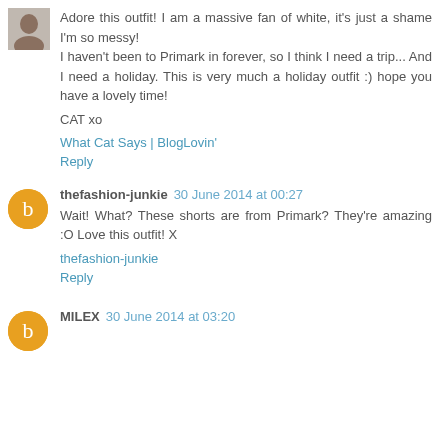[Figure (photo): Small avatar photo of a person (top left)]
Adore this outfit! I am a massive fan of white, it's just a shame I'm so messy!
I haven't been to Primark in forever, so I think I need a trip... And I need a holiday. This is very much a holiday outfit :) hope you have a lovely time!

CAT xo
What Cat Says | BlogLovin'
Reply
[Figure (logo): Blogger orange circle avatar icon for thefashion-junkie]
thefashion-junkie 30 June 2014 at 00:27
Wait! What? These shorts are from Primark? They're amazing :O Love this outfit! X
thefashion-junkie
Reply
[Figure (logo): Blogger orange circle avatar icon for MILEX]
MILEX 30 June 2014 at 03:20